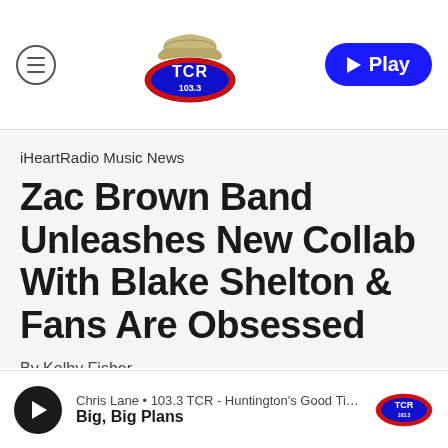TCR 103.3 navigation bar with hamburger menu and Play button
iHeartRadio Music News
Zac Brown Band Unleashes New Collab With Blake Shelton & Fans Are Obsessed
By Kolby Fisher
Chris Lane • 103.3 TCR - Huntington's Good Times & G… Big, Big Plans